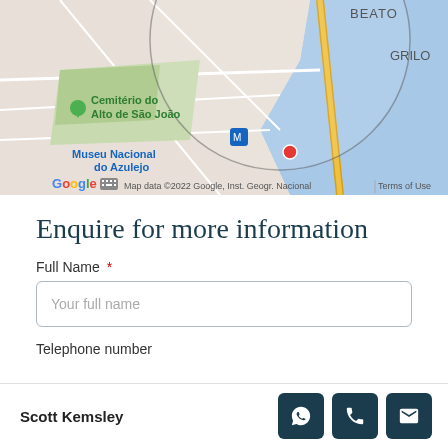[Figure (map): Google Maps screenshot showing area around Grilo and Beato in Lisbon, Portugal. Visible landmarks include Cemitério do Alto de São João and Museu Nacional do Azulejo. Map data ©2022 Google, Inst. Geogr. Nacional. Terms of Use shown at bottom right.]
Enquire for more information
Full Name *
Your full name
Telephone number
Scott Kemsley